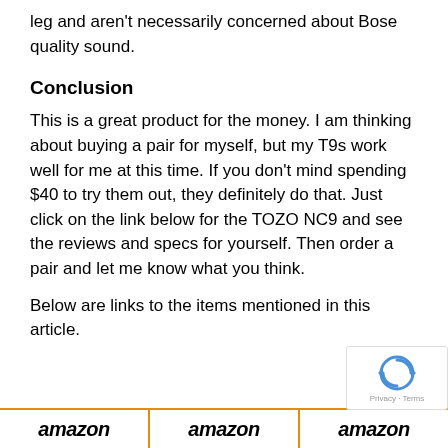leg and aren't necessarily concerned about Bose quality sound.
Conclusion
This is a great product for the money. I am thinking about buying a pair for myself, but my T9s work well for me at this time. If you don't mind spending $40 to try them out, they definitely do that. Just click on the link below for the TOZO NC9 and see the reviews and specs for yourself. Then order a pair and let me know what you think.
Below are links to the items mentioned in this article.
[Figure (logo): Three Amazon logo instances side by side in a bar at the bottom of the page, separated by orange vertical lines. A CAPTCHA/reCAPTCHA widget overlaps the right side.]